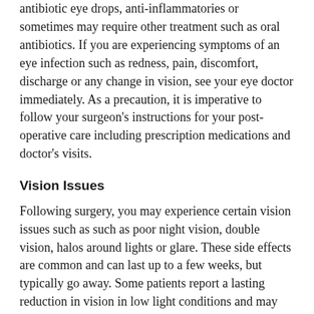antibiotic eye drops, anti-inflammatories or sometimes may require other treatment such as oral antibiotics. If you are experiencing symptoms of an eye infection such as redness, pain, discomfort, discharge or any change in vision, see your eye doctor immediately. As a precaution, it is imperative to follow your surgeon's instructions for your post-operative care including prescription medications and doctor's visits.
Vision Issues
Following surgery, you may experience certain vision issues such as such as poor night vision, double vision, halos around lights or glare. These side effects are common and can last up to a few weeks, but typically go away. Some patients report a lasting reduction in vision in low light conditions and may require vision aids for seeing better at night.
Other risks of LASIK include surgical errors, many of which can be corrected by a follow-up surgery. These include: